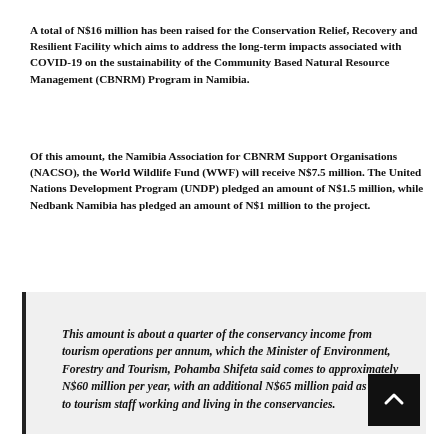A total of N$16 million has been raised for the Conservation Relief, Recovery and Resilient Facility which aims to address the long-term impacts associated with COVID-19 on the sustainability of the Community Based Natural Resource Management (CBNRM) Program in Namibia.
Of this amount, the Namibia Association for CBNRM Support Organisations (NACSO), the World Wildlife Fund (WWF) will receive N$7.5 million. The United Nations Development Program (UNDP) pledged an amount of N$1.5 million, while Nedbank Namibia has pledged an amount of N$1 million to the project.
This amount is about a quarter of the conservancy income from tourism operations per annum, which the Minister of Environment, Forestry and Tourism, Pohamba Shifeta said comes to approximately N$60 million per year, with an additional N$65 million paid as salaries to tourism staff working and living in the conservancies.